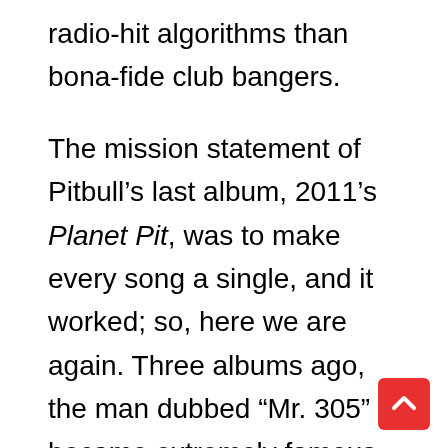radio-hit algorithms than bona-fide club bangers.
The mission statement of Pitbull's last album, 2011's Planet Pit, was to make every song a single, and it worked; so, here we are again. Three albums ago, the man dubbed “Mr. 305” became extremely famous, the closest thing American Latinos have to a homegrown answer to Shakira — or at least that was the hope. This is not an indictment of the Cuban-American’s earlier material — he produced some memorable tracks during the crunk years, and even “Maldito Alcohol,” his 2010 dance foray with thunk-thump producer Afrojack, maintained his originality. Let us not forget that the guy was experimenting with dance music as early as 200… when he freestyled over Lethal Bizzle’s “Pow,” leading